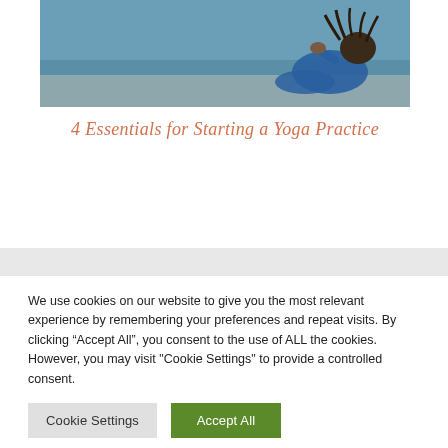[Figure (photo): A person wearing blue clothing sitting/stretching on the ground against a blue wall background, with dreadlocks]
4 Essentials for Starting a Yoga Practice
We use cookies on our website to give you the most relevant experience by remembering your preferences and repeat visits. By clicking “Accept All”, you consent to the use of ALL the cookies. However, you may visit "Cookie Settings" to provide a controlled consent.